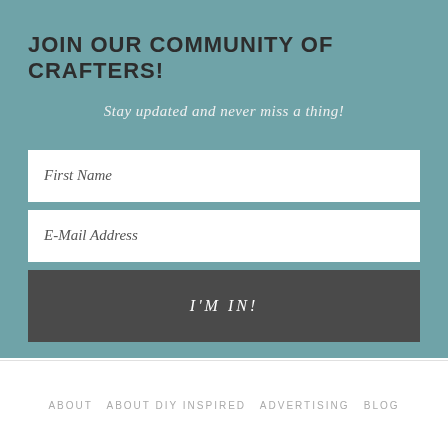JOIN OUR COMMUNITY OF CRAFTERS!
Stay updated and never miss a thing!
First Name
E-Mail Address
I'M IN!
ABOUT  ABOUT DIY INSPIRED  ADVERTISING  BLOG